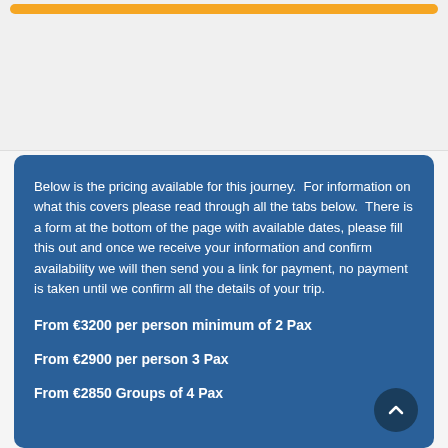[Figure (other): Orange button/bar at top of page in gray area]
Below is the pricing available for this journey.  For information on what this covers please read through all the tabs below.  There is a form at the bottom of the page with available dates, please fill this out and once we receive your information and confirm availability we will then send you a link for payment, no payment is taken until we confirm all the details of your trip.
From €3200 per person minimum of 2 Pax
From €2900 per person 3 Pax
From €2850 Groups of 4 Pax